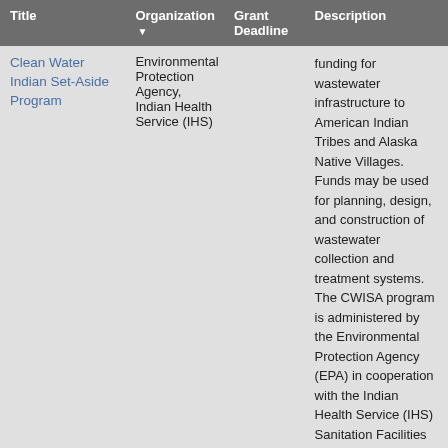| Title | Organization ▼ | Grant Deadline | Description |
| --- | --- | --- | --- |
| Clean Water Indian Set-Aside Program | Environmental Protection Agency, Indian Health Service (IHS) |  | funding for wastewater infrastructure to American Indian Tribes and Alaska Native Villages. Funds may be used for planning, design, and construction of wastewater collection and treatment systems. The CWISA program is administered by the Environmental Protection Agency (EPA) in cooperation with the Indian Health Service (IHS) Sanitation Facilities Construction program. To be considered for CWISA program funding, tribes must identify their wastewater needs to the IHS Sanitation Deficiency System. EPA uses the IHS Sanitation Deficiency System priority lists to identify and select projects for CWISA program funding. |
|  |  |  | Deadline Passes Decemb... |